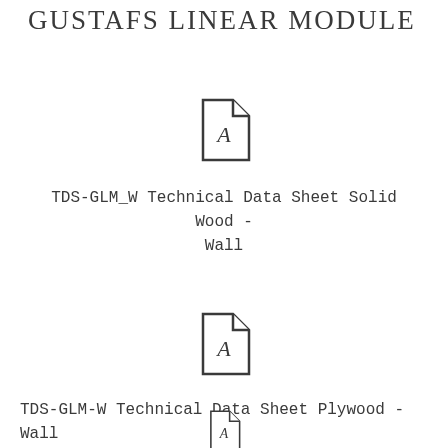GUSTAFS LINEAR MODULE
[Figure (illustration): PDF file icon with Acrobat symbol]
TDS-GLM_W Technical Data Sheet Solid Wood - Wall
[Figure (illustration): PDF file icon with Acrobat symbol]
TDS-GLM-W Technical Data Sheet Plywood - Wall
[Figure (illustration): PDF file icon with Acrobat symbol (partially visible)]